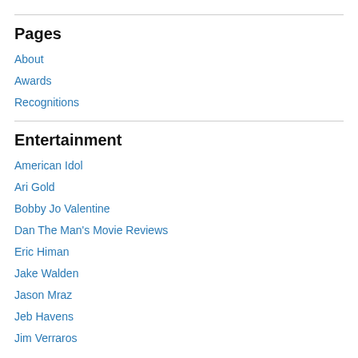Pages
About
Awards
Recognitions
Entertainment
American Idol
Ari Gold
Bobby Jo Valentine
Dan The Man's Movie Reviews
Eric Himan
Jake Walden
Jason Mraz
Jeb Havens
Jim Verraros